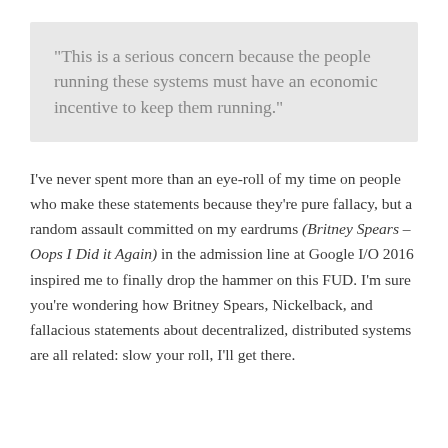“This is a serious concern because the people running these systems must have an economic incentive to keep them running.”
I’ve never spent more than an eye-roll of my time on people who make these statements because they’re pure fallacy, but a random assault committed on my eardrums (Britney Spears – Oops I Did it Again) in the admission line at Google I/O 2016 inspired me to finally drop the hammer on this FUD. I’m sure you’re wondering how Britney Spears, Nickelback, and fallacious statements about decentralized, distributed systems are all related: slow your roll, I’ll get there.